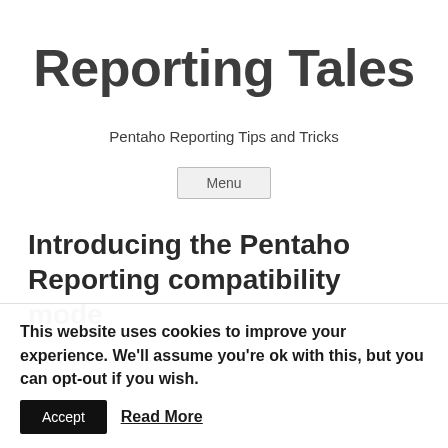Reporting Tales
Pentaho Reporting Tips and Tricks
Menu
Introducing the Pentaho Reporting compatibility mode
Every time I worked on the heart of Pentaho Reporting, the
This website uses cookies to improve your experience. We'll assume you're ok with this, but you can opt-out if you wish.
Accept
Read More